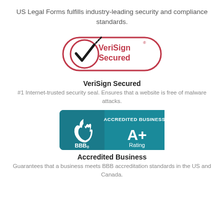US Legal Forms fulfills industry-leading security and compliance standards.
[Figure (logo): VeriSign Secured logo — circular checkmark badge with red border and VeriSign Secured text in red]
VeriSign Secured
#1 Internet-trusted security seal. Ensures that a website is free of malware attacks.
[Figure (logo): BBB Accredited Business A+ Rating logo — teal badge with flame icon and A+ Rating text]
Accredited Business
Guarantees that a business meets BBB accreditation standards in the US and Canada.